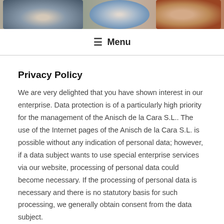[Figure (photo): Header banner image showing decorative jewelry and crafts items with blue, teal, and brown tones]
☰ Menu
Privacy Policy
We are very delighted that you have shown interest in our enterprise. Data protection is of a particularly high priority for the management of the Anisch de la Cara S.L.. The use of the Internet pages of the Anisch de la Cara S.L. is possible without any indication of personal data; however, if a data subject wants to use special enterprise services via our website, processing of personal data could become necessary. If the processing of personal data is necessary and there is no statutory basis for such processing, we generally obtain consent from the data subject.